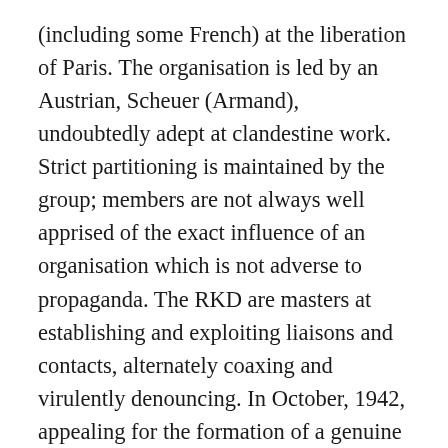(including some French) at the liberation of Paris. The organisation is led by an Austrian, Scheuer (Armand), undoubtedly adept at clandestine work. Strict partitioning is maintained by the group; members are not always well apprised of the exact influence of an organisation which is not adverse to propaganda. The RKD are masters at establishing and exploiting liaisons and contacts, alternately coaxing and virulently denouncing. In October, 1942, appealing for the formation of a genuine new International, they address a letter to the Trotskyist group La Seule Voie, stating that the anti-Trotskyist repression has removed one obstacle to this task. This infelicitous opening provokes an indignant response from La Seule Voie: "You have the wrong address, comrades." Individual contacts are more fruitful and the RKD has some influence on young Trotskyists in Toulouse, Lyons and Paris.